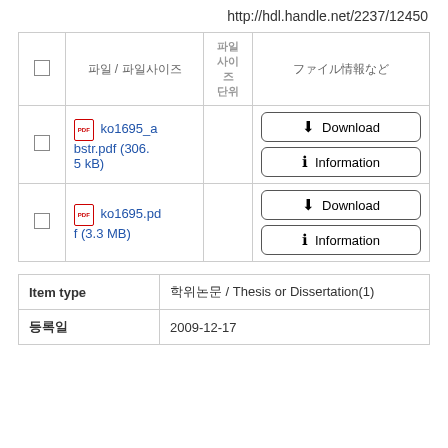http://hdl.handle.net/2237/12450
|  | 파일 / 파일사이즈 | 파일
사이즈
단위 | ファイル情報など |
| --- | --- | --- | --- |
| ☐ | 📄 ko1695_abstr.pdf (306.5 kB) |  | Download | Information |
| ☐ | 📄 ko1695.pdf (3.3 MB) |  | Download | Information |
| Item type | 학위논문 / Thesis or Dissertation(1) |
| --- | --- |
| 등록일 | 2009-12-17 |